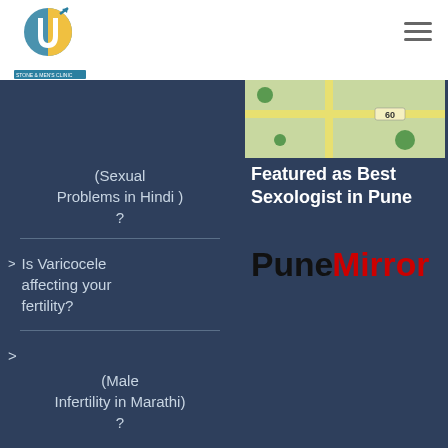[Figure (logo): Urolife Stone & Men's Clinic logo with circular emblem and text]
[Figure (other): Hamburger menu icon (three horizontal lines)]
[Figure (map): Google Maps snippet showing road number 60]
(Sexual Problems in Hindi) ?
Is Varicocele affecting your fertility?
(Male Infertility in Marathi) ?
Featured as Best Sexologist in Pune
[Figure (logo): Pune Mirror logo with 'Pune' in black bold and 'Mirror' in red bold]